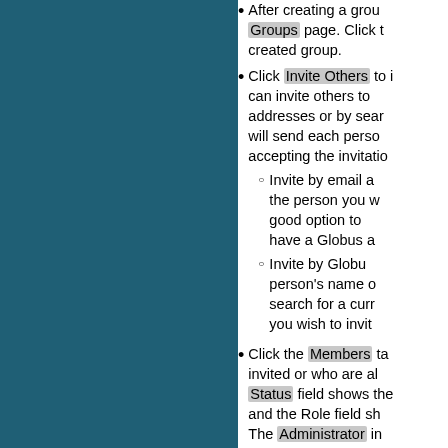After creating a group, you will be taken to the Groups page. Click the name of the newly created group.
Click Invite Others to invite others to the group. You can invite others to the group by email addresses or by searching for their name. Globus will send each person an email with a link for accepting the invitation.
  - Invite by email address: Use this option if the person you wish to invite does not yet have a Globus account. This is a good option to use if the person does not yet have a Globus account.
  - Invite by Globus username: Search for a person's name or username. You can search for a current Globus user whose name you wish to invite.
Click the Members tab to see a list of members who have been invited or who are already members of the group. The Status field shows the current status of each member and the Role field shows their role in the group. The Administrator in the Role field indicates that user can change the role or status in the group.